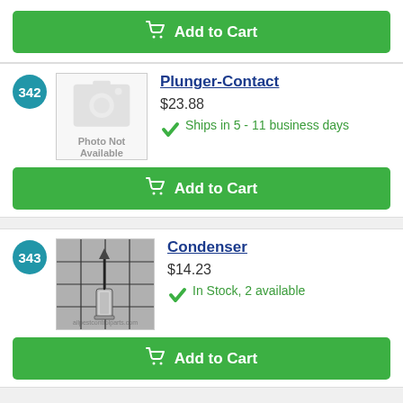[Figure (other): Add to Cart button at top of page (partial previous product)]
342
[Figure (photo): Photo Not Available placeholder image for Plunger-Contact product]
Plunger-Contact
$23.88
Ships in 5 - 11 business days
[Figure (other): Add to Cart button for Plunger-Contact]
343
[Figure (photo): Condenser product photo showing a cylindrical condenser on a grid background]
Condenser
$14.23
In Stock, 2 available
[Figure (other): Add to Cart button for Condenser]